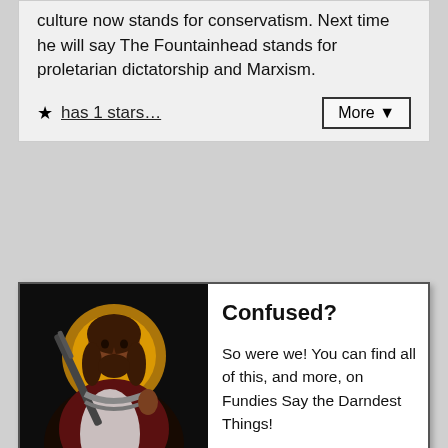culture now stands for conservatism. Next time he will say The Fountainhead stands for proletarian dictatorship and Marxism.
★ has 1 stars…   More ▼
Confused?
[Figure (illustration): Illustration of a Jesus-like figure holding a rifle with ammunition bandolier, wearing robes against a dark background with golden halo]
So were we! You can find all of this, and more, on Fundies Say the Darndest Things!
To post a comment, you'll need to Sign in or Register. Making an account also allows you to claim credit for submitting quotes, and to vote on quotes and comments. You don't even need to give us your email address.